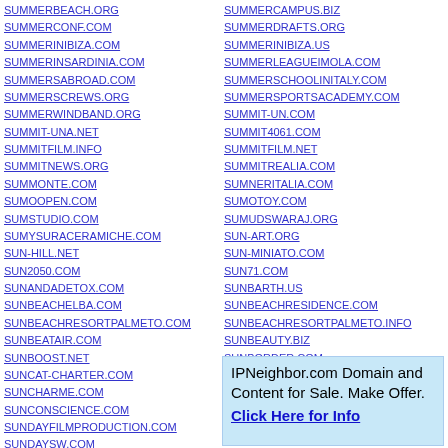SUMMERBEACH.ORG
SUMMERCAMPUS.BIZ
SUMMERCONF.COM
SUMMERDRAFTS.ORG
SUMMERINIBIZA.COM
SUMMERINIBIZA.US
SUMMERINSARDINIA.COM
SUMMERLEAGUEIMOLA.COM
SUMMERSABROAD.COM
SUMMERSCHOOLINITALY.COM
SUMMERSCREWS.ORG
SUMMERSPORTSACADEMY.COM
SUMMERWINDBAND.ORG
SUMMIT-UN.COM
SUMMIT-UNA.NET
SUMMIT4061.COM
SUMMITFILM.INFO
SUMMITFILM.NET
SUMMITNEWS.ORG
SUMMITREALIA.COM
SUMMONTE.COM
SUMNERITALIA.COM
SUMOOPEN.COM
SUMOTOY.COM
SUMSTUDIO.COM
SUMUDSWARAJ.ORG
SUMYSURACERAMICHE.COM
SUN-ART.ORG
SUN-HILL.NET
SUN-MINIATO.COM
SUN2050.COM
SUN71.COM
SUNANDADETOX.COM
SUNBARTH.US
SUNBEACHELBA.COM
SUNBEACHRESIDENCE.COM
SUNBEACHRESORTPALMETO.COM
SUNBEACHRESORTPALMETO.INFO
SUNBEATAIR.COM
SUNBEAUTY.BIZ
SUNBOOST.NET
SUNBORDER.COM
SUNCAT-CHARTER.COM
SUNCHALICE.COM
SUNCHARME.COM
SUNCITYROMA.COM
SUNCONSCIENCE.COM
SUNDAYFILMPRODUCTION.COM
SUNDAYSW.COM
SUNEBLUE.COM
SUNELWEB.NET
IPNeighbor.com Domain and Content for Sale. Make Offer. Click Here for Info